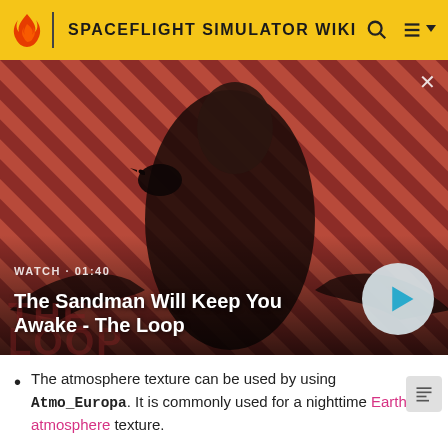SPACEFLIGHT SIMULATOR WIKI
[Figure (screenshot): Video thumbnail for 'The Sandman Will Keep You Awake - The Loop' showing a dark-cloaked figure with a raven on their shoulder against a red and dark diagonal striped background. Shows WATCH · 01:40 label and a play button.]
The atmosphere texture can be used by using Atmo_Europa. It is commonly used for a nighttime Earth atmosphere texture.
Europa is named after a lover of Zeus, who turned